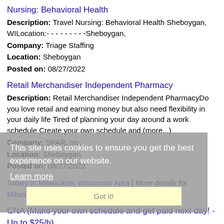Nursing: Behavioral Health
Description: Travel Nursing: Behavioral Health Sheboygan, WILocation:- - - - - - - - -Sheboygan,
Company: Triage Staffing
Location: Sheboygan
Posted on: 08/27/2022
Retail Merchandiser Independent Pharmacy
Description: Retail Merchandiser Independent PharmacyDo you love retail and earning money but also need flexibility in your daily life Tired of planning your day around a work schedule Create your own schedule and (more...)
Company: SPAR, Inc.
Location: Sheboygan
Posted on: 08/27/2022
Salary in Milwaukee, Wisconsin Area | More details for Milwaukee, Wisconsin Jobs |Salary
This site uses cookies to ensure you get the best experience on our website. Learn more Got it!
CNA (Make your own schedule and get paid next day! - Up to $25/h)
Description: Milwaukee, Wisconsin br ...so you can focus on doing what you do best caring for people. br ShiftKey enables you to bid